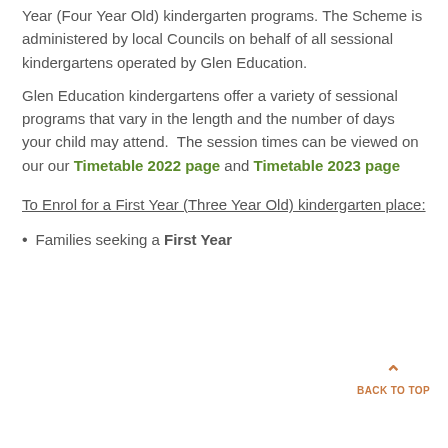First Year (Three Year Old) and Second Year (Four Year Old) kindergarten programs. The Scheme is administered by local Councils on behalf of all sessional kindergartens operated by Glen Education.
Glen Education kindergartens offer a variety of sessional programs that vary in the length and the number of days your child may attend. The session times can be viewed on our our Timetable 2022 page and Timetable 2023 page
To Enrol for a First Year (Three Year Old) kindergarten place:
Families seeking a First Year